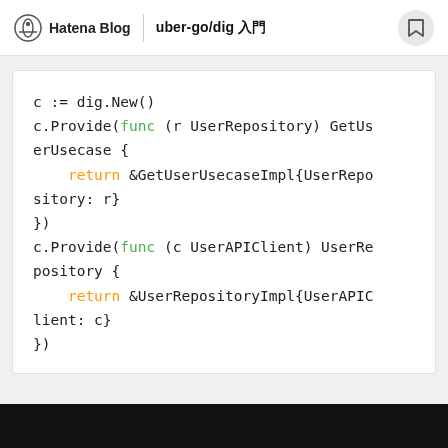Hatena Blog | uber-go/dig 入門
[Figure (screenshot): Code block showing Go dependency injection using uber-go/dig: c := dig.New(), c.Provide(func (r UserRepository) GetUserUsecase { return &GetUserUsecaseImpl{UserRepository: r} }), c.Provide(func (c UserAPIClient) UserRepository { return &UserRepositoryImpl{UserAPIClient: c} })]